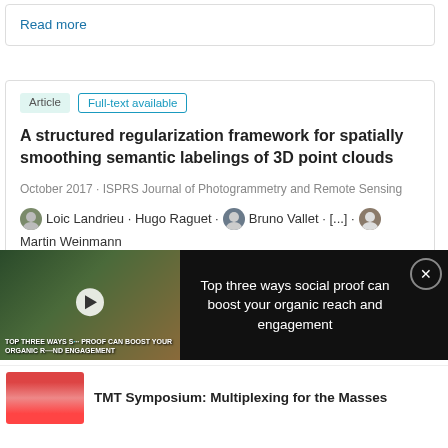Read more
Article  Full-text available
A structured regularization framework for spatially smoothing semantic labelings of 3D point clouds
October 2017 · ISPRS Journal of Photogrammetry and Remote Sensing
Loic Landrieu · Hugo Raguet · Bruno Vallet · [...] · Martin Weinmann
[Figure (screenshot): Video ad overlay showing researchers in lab coats with text 'TOP THREE WAYS SOCIAL PROOF CAN BOOST YOUR ORGANIC REACH AND ENGAGEMENT' and play button]
Top three ways social proof can boost your organic reach and engagement
[Figure (photo): Small thumbnail image of colorful microscopy or food image in red/orange tones]
TMT Symposium: Multiplexing for the Masses